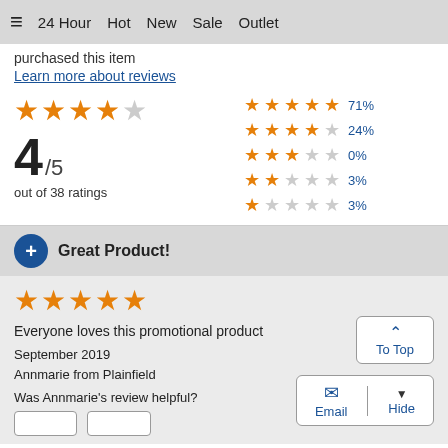≡  24 Hour  Hot  New  Sale  Outlet
purchased this item
Learn more about reviews
[Figure (other): Star rating display: 4 out of 5 stars, based on 38 ratings. Breakdown: 5 stars 71%, 4 stars 24%, 3 stars 0%, 2 stars 3%, 1 star 3%]
Great Product!
[Figure (other): 5 out of 5 stars rating]
Everyone loves this promotional product
September 2019
Annmarie from Plainfield
Was Annmarie's review helpful?